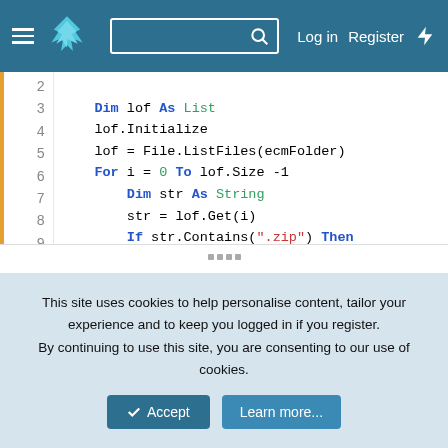GitLab navigation header with logo, search box, Log in, Register, and activity links
[Figure (screenshot): Code editor showing Basic4Android/Basic4Java code snippet with syntax highlighting, lines 2-16]
This site uses cookies to help personalise content, tailor your experience and to keep you logged in if you register.
By continuing to use this site, you are consenting to our use of cookies.
✓ Accept   Learn more...